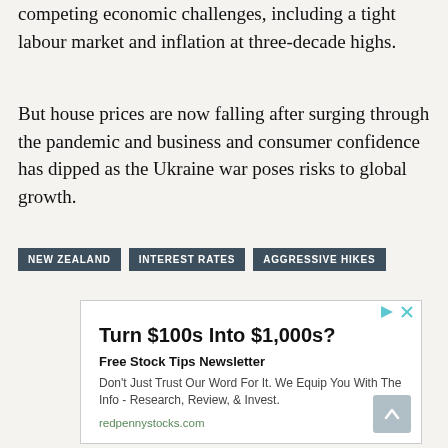competing economic challenges, including a tight labour market and inflation at three-decade highs.
But house prices are now falling after surging through the pandemic and business and consumer confidence has dipped as the Ukraine war poses risks to global growth.
NEW ZEALAND
INTEREST RATES
AGGRESSIVE HIKES
[Figure (other): Advertisement box: Turn $100s Into $1,000s? Free Stock Tips Newsletter. Don't Just Trust Our Word For It. We Equip You With The Info - Research, Review, & Invest. redpennystocks.com]